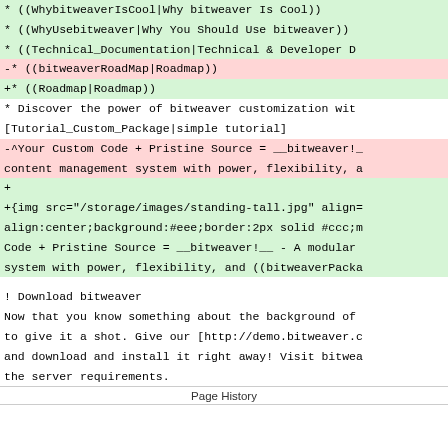((WhybitweaverIsCool|Why bitweaver Is Cool))
((WhyUsebitweaver|Why You Should Use bitweaver))
((Technical_Documentation|Technical & Developer D…
-* ((bitweaverRoadMap|Roadmap))
+* ((Roadmap|Roadmap))
* Discover the power of bitweaver customization with [Tutorial_Custom_Package|simple tutorial]
-^Your Custom Code + Pristine Source = __bitweaver!__ content management system with power, flexibility, a
+
+{img src="/storage/images/standing-tall.jpg" align= align:center;background:#eee;border:2px solid #ccc;m Code + Pristine Source = __bitweaver!__ - A modular system with power, flexibility, and ((bitweaverPacka
! Download bitweaver
Now that you know something about the background of to give it a shot. Give our [http://demo.bitweaver.c and download and install it right away! Visit bitwea the server requirements.
Page History